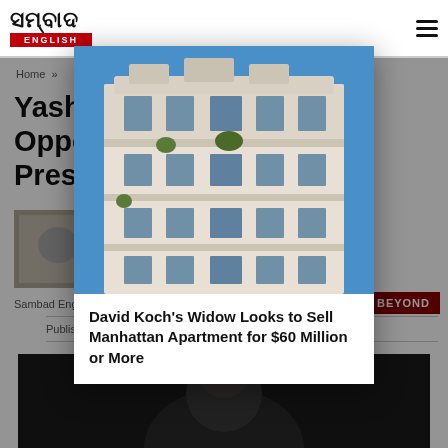Sambad English | ENGLISH
Home »
Yashe... Oppo... Pres...
[Figure (photo): Thumbnail image of article subject]
Sambad English
& BEYOND
Published On : Jun 21, 2022 at 4:47 PM
[Figure (photo): Modal popup showing a Manhattan apartment building facade with blue sky. Classical/Beaux-Arts style white stone building with ornate balconies and decorative elements.]
David Koch's Widow Looks to Sell Manhattan Apartment for $60 Million or More
[Figure (photo): Dark photo of an elderly man, partially visible at bottom of page]